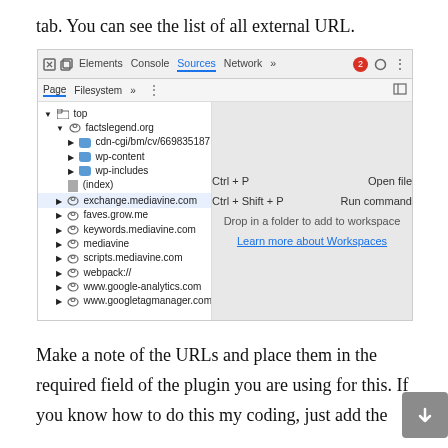tab. You can see the list of all external URL.
[Figure (screenshot): Chrome DevTools Sources panel showing a file tree with top, factslegend.org (with subfolders cdn-cgi/bm/cv/669835187, wp-content, wp-includes, (index)), exchange.mediavine.com, faves.grow.me, keywords.mediavine.com, mediavine, scripts.mediavine.com, webpack://, www.google-analytics.com, www.googletagmanager.com. Right panel shows keyboard shortcuts: Ctrl+P Open file, Ctrl+Shift+P Run command, Drop in a folder to add to workspace, Learn more about Workspaces link.]
Make a note of the URLs and place them in the required field of the plugin you are using for this. If you know how to do this my coding, just add the